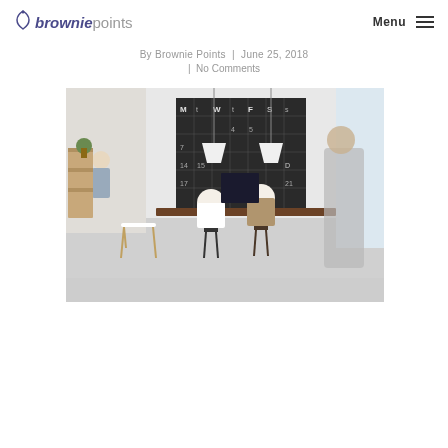browniepoints | Menu
By Brownie Points | June 25, 2018
| No Comments
[Figure (photo): Modern open-plan office workspace with people sitting at desks working on computers, a large blackboard calendar on the wall showing days of the week (M t W t F S s), pendant lamps, and a person walking in motion blur in the foreground right.]